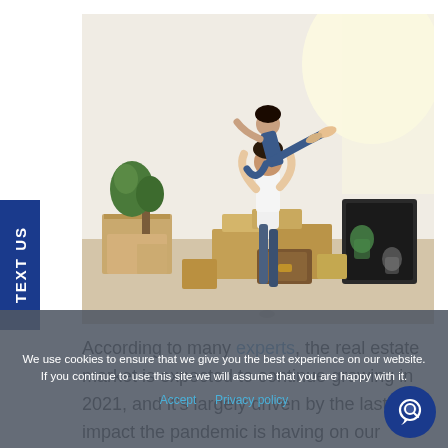[Figure (photo): A couple celebrating in a room full of moving boxes. One person lifts the other joyfully. A plant is in the corner and a framed handprint artwork leans against boxes.]
According to many experts, the real estate market is expected to continue growing in 2021, and it's largely driven by the lasting impact the pandemic is having on our lifestyles. As many of us spend extra time at home, we're reevaluating what “home” means
We use cookies to ensure that we give you the best experience on our website. If you continue to use this site we will assume that you are happy with it.
Accept   Privacy policy